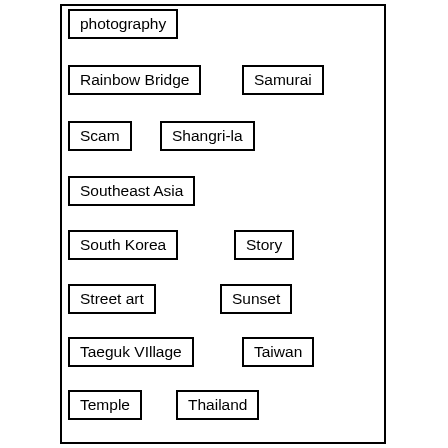photography
Rainbow Bridge
Samurai
Scam
Shangri-la
Southeast Asia
South Korea
Story
Street art
Sunset
Taeguk VIllage
Taiwan
Temple
Thailand
Tibetan Buddhism
Tokyo
travel
UK
Video Games
Weekend Warrior
Yonggungsa
Yunnan